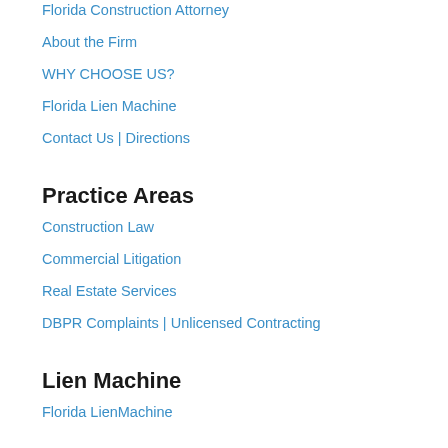Florida Construction Attorney
About the Firm
WHY CHOOSE US?
Florida Lien Machine
Contact Us | Directions
Practice Areas
Construction Law
Commercial Litigation
Real Estate Services
DBPR Complaints | Unlicensed Contracting
Lien Machine
Florida LienMachine